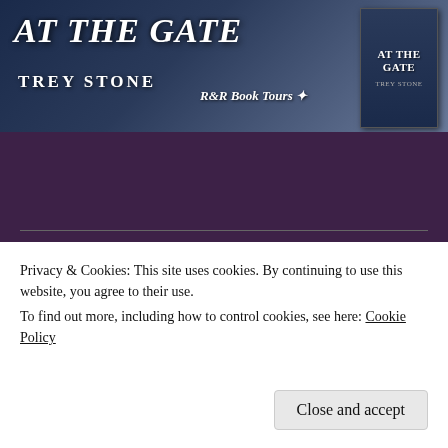[Figure (illustration): Book tour banner for 'At The Gate' by Trey Stone, R&R Book Tours, showing title text and book cover on dark blue sky background]
[Figure (illustration): Book tour banner for 'Year Zero', Book Tour Aug 29th - Sept 2nd, showing large golden title text and book cover on dark background]
Privacy & Cookies: This site uses cookies. By continuing to use this website, you agree to their use.
To find out more, including how to control cookies, see here: Cookie Policy
Close and accept